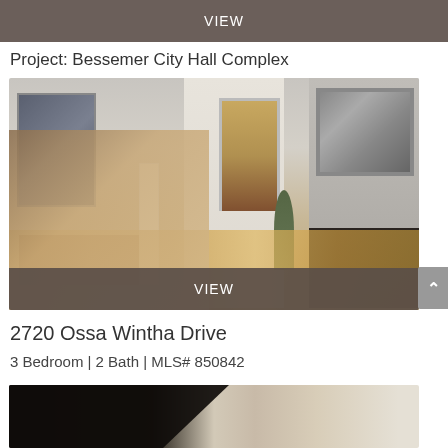[Figure (photo): Top partial VIEW button bar from previous listing card]
Project: Bessemer City Hall Complex
[Figure (photo): Interior photo of a home showing a foyer/entryway with staircase, hardwood floors, wall art, hallway leading to kitchen, and dark dresser with mirror on right side]
VIEW
2720 Ossa Wintha Drive
3 Bedroom | 2 Bath | MLS# 850842
[Figure (photo): Bottom partial photo of another listing, partially cut off at page bottom]